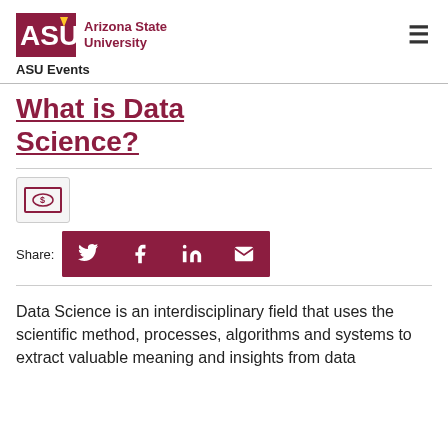ASU Arizona State University — ASU Events
What is Data Science?
[Figure (other): Free admission icon — a small rectangle with a dollar/circle symbol inside a bordered box]
Share: [Twitter] [Facebook] [LinkedIn] [Email]
Data Science is an interdisciplinary field that uses the scientific method, processes, algorithms and systems to extract valuable meaning and insights from data